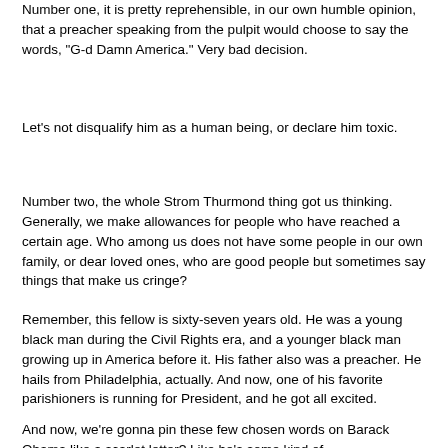Number one, it is pretty reprehensible, in our own humble opinion, that a preacher speaking from the pulpit would choose to say the words, "G-d Damn America." Very bad decision.
Let's not disqualify him as a human being, or declare him toxic.
Number two, the whole Strom Thurmond thing got us thinking. Generally, we make allowances for people who have reached a certain age. Who among us does not have some people in our own family, or dear loved ones, who are good people but sometimes say things that make us cringe?
Remember, this fellow is sixty-seven years old. He was a young black man during the Civil Rights era, and a younger black man growing up in America before it. His father also was a preacher. He hails from Philadelphia, actually. And now, one of his favorite parishioners is running for President, and he got all excited.
And now, we're gonna pin these few chosen words on Barack Obama like a scarlet letter? Like he's some kind of